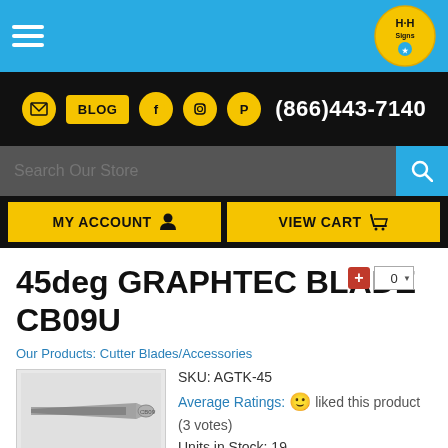H&H Signs — Navigation header with logo, hamburger menu, social icons, phone number (866)443-7140, search bar, MY ACCOUNT and VIEW CART buttons
45deg GRAPHTEC BLADE CB09U
Our Products: Cutter Blades/Accessories
[Figure (photo): Product image of 45deg Graphtec Blade CB09U — main image showing blade on top, two thumbnail images below]
SKU: AGTK-45
Average Ratings: liked this product (3 votes)
Units in Stock: 19
Steel tip applied to solid premium grade